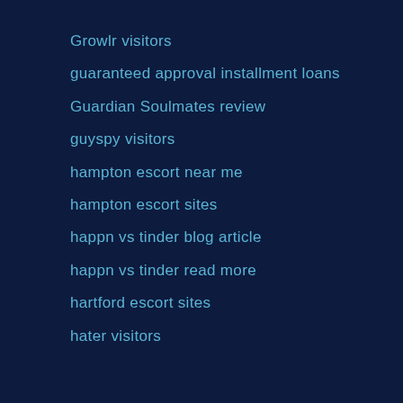Growlr visitors
guaranteed approval installment loans
Guardian Soulmates review
guyspy visitors
hampton escort near me
hampton escort sites
happn vs tinder blog article
happn vs tinder read more
hartford escort sites
hater visitors